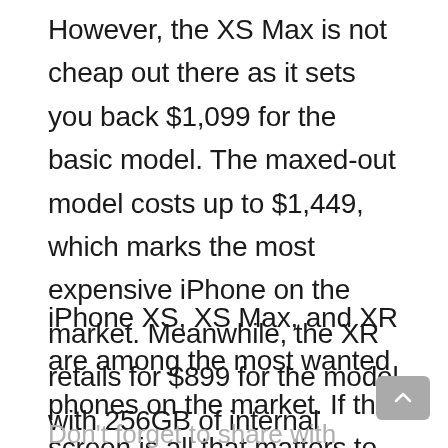However, the XS Max is not cheap out there as it sets you back $1,099 for the basic model. The maxed-out model costs up to $1,449, which marks the most expensive iPhone on the market. Meanwhile, the XR retails for $899 for the model with 256GB of internal storage, which is $200 less than the 64GB XS Max.
iPhone XS, XS Max, and XR are among the most wanted phones on the market. If the screen is all that matters to you, then the XS or XS Max should be a better choice.
Don't forget to share with us your thoughts